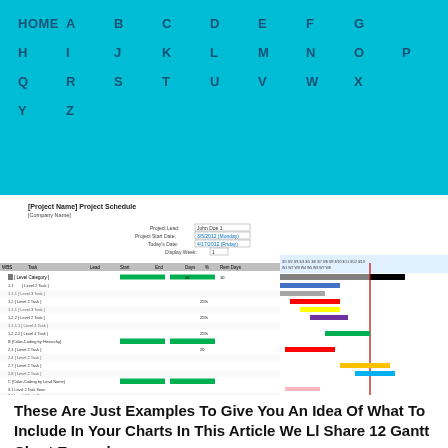HOME  A  B  C  D  E  F  G  H  I  J  K  L  M  N  O  P  Q  R  S  T  U  V  W  X  Y  Z
[Figure (screenshot): Screenshot of a Gantt chart Excel spreadsheet titled '[Project Name] Project Schedule' showing project tasks with colored bars representing timelines including gray, black, blue, red, yellow, purple, green, and other colored bars on a grid.]
These Are Just Examples To Give You An Idea Of What To Include In Your Charts In This Article We Ll Share 12 Gantt Chart Examples